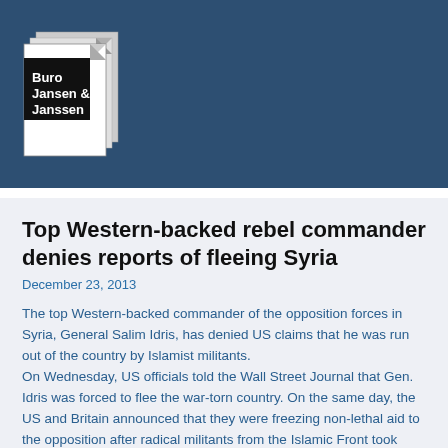[Figure (logo): Buro Jansen & Janssen logo: stacked document pages icon with bold text 'Buro Jansen & Janssen' on a black banner]
Top Western-backed rebel commander denies reports of fleeing Syria
December 23, 2013
The top Western-backed commander of the opposition forces in Syria, General Salim Idris, has denied US claims that he was run out of the country by Islamist militants.
On Wednesday, US officials told the Wall Street Journal that Gen. Idris was forced to flee the war-torn country. On the same day, the US and Britain announced that they were freezing non-lethal aid to the opposition after radical militants from the Islamic Front took control of the Free Syrian Army's bases in northern